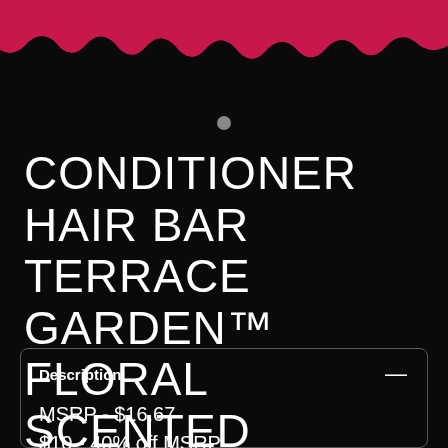[Figure (illustration): Crimson/dark torn-edge header banner with black background]
CONDITIONER HAIR BAR TERRACE GARDEN™ FLORAL SCENTED
Description
MSRP - $16.67
$10 - 40% off MSRP